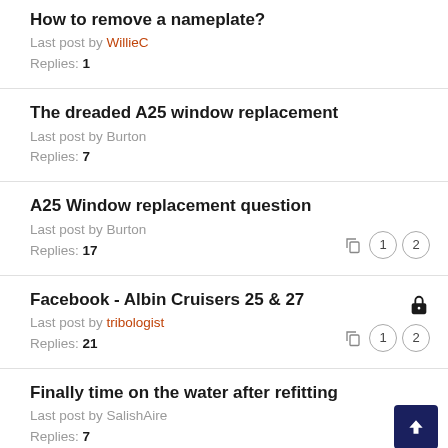How to remove a nameplate?
Last post by WillieC
Replies: 1
The dreaded A25 window replacement
Last post by Burton
Replies: 7
A25 Window replacement question
Last post by Burton
Replies: 17
Facebook - Albin Cruisers 25 & 27
Last post by tribologist
Replies: 21
Finally time on the water after refitting
Last post by SalishAire
Replies: 7